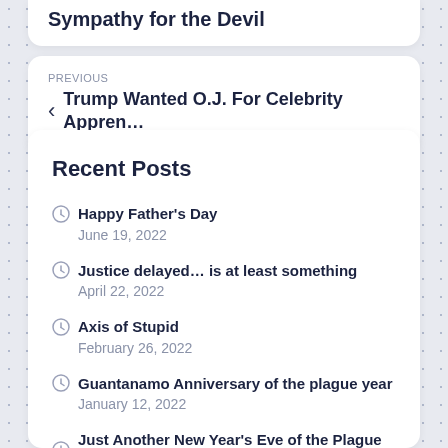Sympathy for the Devil
PREVIOUS
Trump Wanted O.J. For Celebrity Appren...
Recent Posts
Happy Father's Day
June 19, 2022
Justice delayed… is at least something
April 22, 2022
Axis of Stupid
February 26, 2022
Guantanamo Anniversary of the plague year
January 12, 2022
Just Another New Year's Eve of the Plague Year